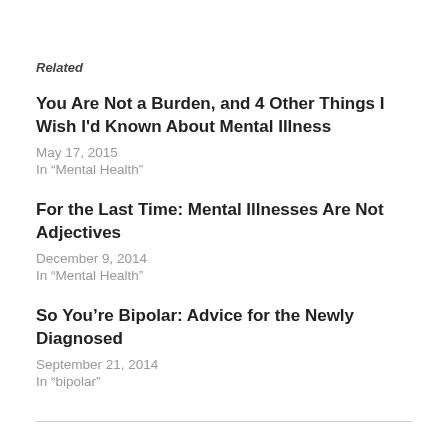Related
You Are Not a Burden, and 4 Other Things I Wish I'd Known About Mental Illness
May 17, 2015
In "Mental Health"
For the Last Time: Mental Illnesses Are Not Adjectives
December 9, 2014
In "Mental Health"
So You're Bipolar: Advice for the Newly Diagnosed
September 21, 2014
In "bipolar"